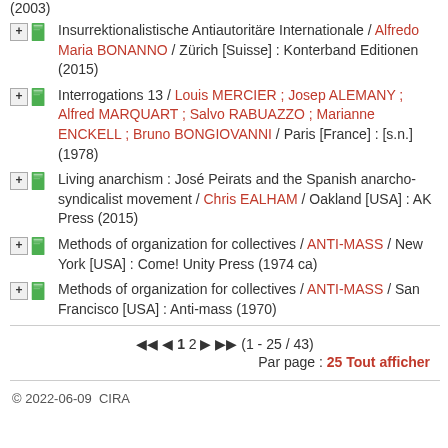(2003)
Insurrektionalistische Antiautoritäre Internationale / Alfredo Maria BONANNO / Zürich [Suisse] : Konterband Editionen (2015)
Interrogations 13 / Louis MERCIER ; Josep ALEMANY ; Alfred MARQUART ; Salvo RABUAZZO ; Marianne ENCKELL ; Bruno BONGIOVANNI / Paris [France] : [s.n.] (1978)
Living anarchism : José Peirats and the Spanish anarcho-syndicalist movement / Chris EALHAM / Oakland [USA] : AK Press (2015)
Methods of organization for collectives / ANTI-MASS / New York [USA] : Come! Unity Press (1974 ca)
Methods of organization for collectives / ANTI-MASS / San Francisco [USA] : Anti-mass (1970)
(1 - 25 / 43) Par page : 25 Tout afficher
© 2022-06-09  CIRA